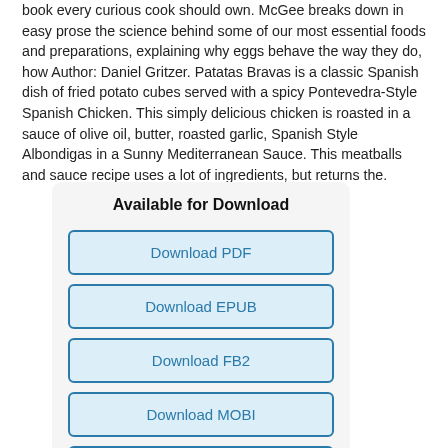book every curious cook should own. McGee breaks down in easy prose the science behind some of our most essential foods and preparations, explaining why eggs behave the way they do, how Author: Daniel Gritzer. Patatas Bravas is a classic Spanish dish of fried potato cubes served with a spicy Pontevedra-Style Spanish Chicken. This simply delicious chicken is roasted in a sauce of olive oil, butter, roasted garlic, Spanish Style Albondigas in a Sunny Mediterranean Sauce. This meatballs and sauce recipe uses a lot of ingredients, but returns the.
Available for Download
Download PDF
Download EPUB
Download FB2
Download MOBI
Download TXT